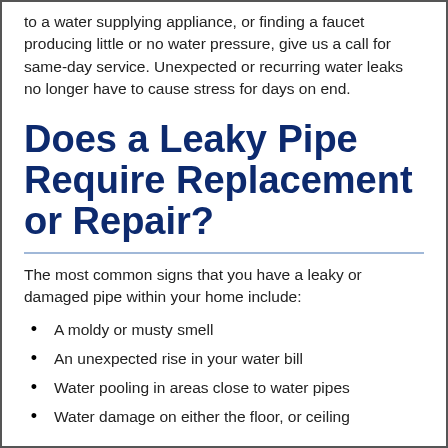to a water supplying appliance, or finding a faucet producing little or no water pressure, give us a call for same-day service. Unexpected or recurring water leaks no longer have to cause stress for days on end.
Does a Leaky Pipe Require Replacement or Repair?
The most common signs that you have a leaky or damaged pipe within your home include:
A moldy or musty smell
An unexpected rise in your water bill
Water pooling in areas close to water pipes
Water damage on either the floor, or ceiling